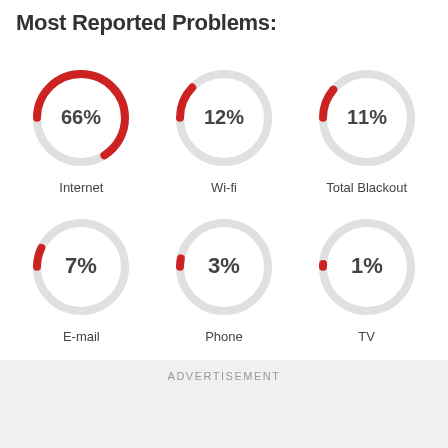Most Reported Problems:
[Figure (donut-chart): Most Reported Problems]
ADVERTISEMENT